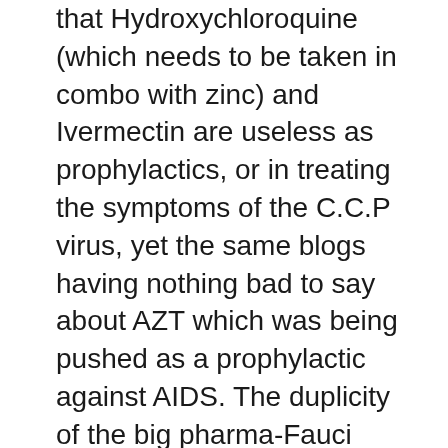that Hydroxychloroquine (which needs to be taken in combo with zinc) and Ivermectin are useless as prophylactics, or in treating the symptoms of the C.C.P virus, yet the same blogs having nothing bad to say about AZT which was being pushed as a prophylactic against AIDS. The duplicity of the big pharma-Fauci gang knows no ethical bounds, for more then a decade they pushed AZT, and now Truvada as prophylactics against AIDS, even though both are dangerous drugs, but we are supposed to believe them when they state that taking more or less harmless drugs as prophylactics